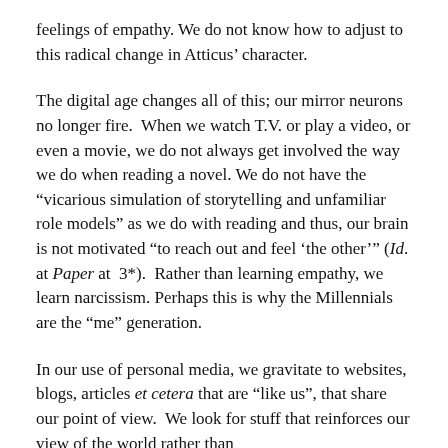feelings of empathy. We do not know how to adjust to this radical change in Atticus' character.
The digital age changes all of this; our mirror neurons no longer fire.  When we watch T.V. or play a video, or even a movie, we do not always get involved the way we do when reading a novel. We do not have the “vicarious simulation of storytelling and unfamiliar role models” as we do with reading and thus, our brain is not motivated “to reach out and feel ‘the other’” (Id. at Paper at 3*).  Rather than learning empathy, we learn narcissism. Perhaps this is why the Millennials are the “me” generation.
In our use of personal media, we gravitate to websites, blogs, articles et cetera that are “like us”, that share our point of view.  We look for stuff that reinforces our view of the world rather than